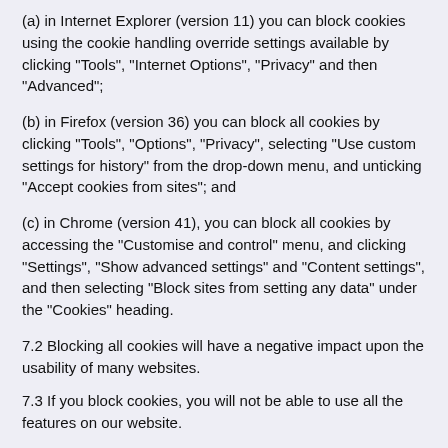(a) in Internet Explorer (version 11) you can block cookies using the cookie handling override settings available by clicking "Tools", "Internet Options", "Privacy" and then "Advanced";
(b) in Firefox (version 36) you can block all cookies by clicking "Tools", "Options", "Privacy", selecting "Use custom settings for history" from the drop-down menu, and unticking "Accept cookies from sites"; and
(c) in Chrome (version 41), you can block all cookies by accessing the "Customise and control" menu, and clicking "Settings", "Show advanced settings" and "Content settings", and then selecting "Block sites from setting any data" under the "Cookies" heading.
7.2 Blocking all cookies will have a negative impact upon the usability of many websites.
7.3 If you block cookies, you will not be able to use all the features on our website.
8. Deleting cookies
8.1 You can delete cookies already stored on your computer; for example:
(a) in Internet Explorer (version 11), you can...